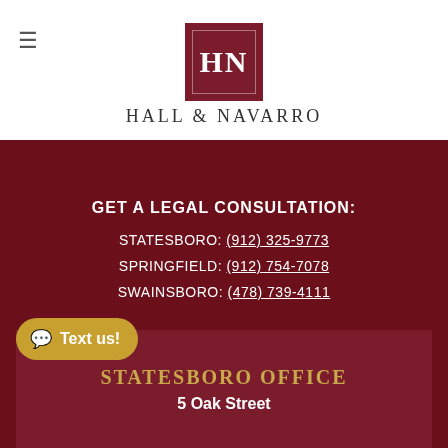[Figure (logo): Hall & Navarro law firm logo — HN initials in white on dark red square, with firm name below]
GET A LEGAL CONSULTATION:
STATESBORO: (912) 325-9773
SPRINGFIELD: (912) 754-7078
SWAINSBORO: (478) 739-4111
Georgia
[Figure (photo): Photo of a man holding a young child, smiling]
Text us!
STATESBORO OFFICE
5 Oak Street